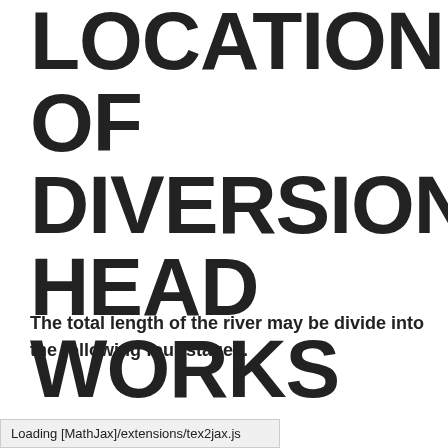LOCATION OF DIVERSION HEAD WORKS
The total length of the river may be divide into the following four stages.
Loading [MathJax]/extensions/tex2jax.js